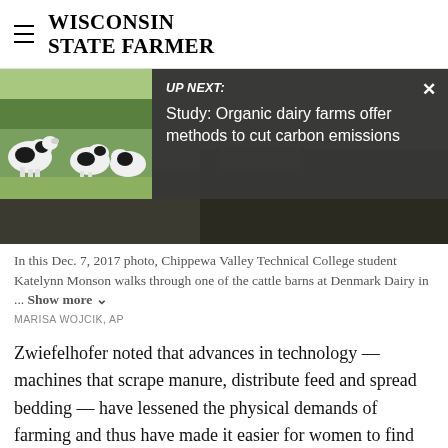WISCONSIN STATE FARMER
[Figure (photo): UP NEXT overlay panel over a farm photo with cows, showing thumbnail of cows in field. Text reads: UP NEXT: Study: Organic dairy farms offer methods to cut carbon emissions]
In this Dec. 7, 2017 photo, Chippewa Valley Technical College student Katelynn Monson walks through one of the cattle barns at Denmark Dairy in ... Show more
MARISA WOJCIK, AP
Zwiefelhofer noted that advances in technology — machines that scrape manure, distribute feed and spread bedding — have lessened the physical demands of farming and thus have made it easier for women to find work in the barn — once considered primarily the domain of men.